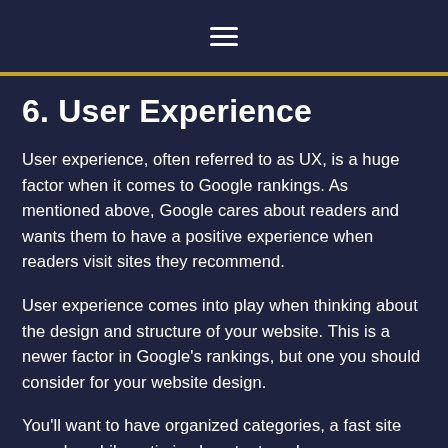☰
6. User Experience
User experience, often referred to as UX, is a huge factor when it comes to Google rankings. As mentioned above, Google cares about readers and wants them to have a positive experience when readers visit sites they recommend.
User experience comes into play when thinking about the design and structure of your website. This is a newer factor in Google's rankings, but one you should consider for your website design.
You'll want to have organized categories, a fast site speed, mobile-optimized content, and an easy